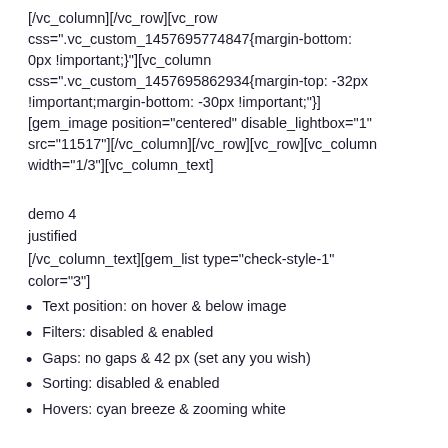[/vc_column][/vc_row][vc_row css=".vc_custom_1457695774847{margin-bottom: 0px !important;}"][vc_column css=".vc_custom_1457695862934{margin-top: -32px !important;margin-bottom: -30px !important;"] [gem_image position="centered" disable_lightbox="1" src="11517"][/vc_column][/vc_row][vc_row][vc_column width="1/3"][vc_column_text]
demo 4
justified
[/vc_column_text][gem_list type="check-style-1" color="3"]
Text position: on hover & below image
Filters: disabled & enabled
Gaps: no gaps & 42 px (set any you wish)
Sorting: disabled & enabled
Hovers: cyan breeze & zooming white